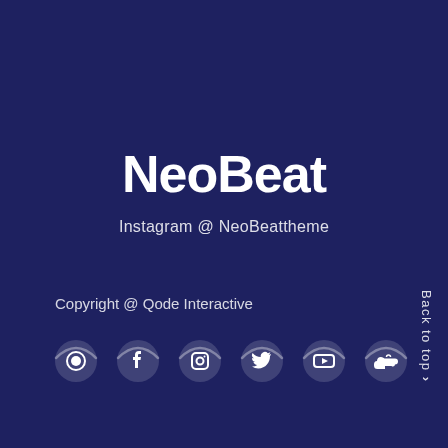NeoBeat
Instagram @ NeoBeattheme
Copyright @ Qode Interactive
[Figure (illustration): A row of social media icons: a circular icon (possibly a custom/brand icon), Facebook, Instagram, Twitter, YouTube, and SoundCloud. Each icon is displayed in a circular button style on the dark navy background, with a subtle arc/gradient overlay.]
Back to top >